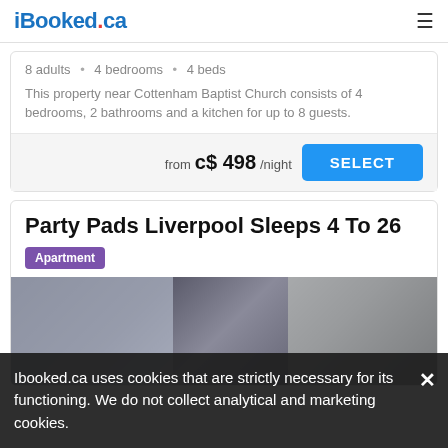iBooked.ca
8 adults • 4 bedrooms • 4 beds
This property near Cottenham Baptist Church consists of 4 bedrooms, 2 bathrooms and a kitchen for up to 8 guests.
from c$ 498/night
Party Pads Liverpool Sleeps 4 To 26
Apartment
[Figure (photo): Interior photo of a dark modern living/dining area]
Ibooked.ca uses cookies that are strictly necessary for its functioning. We do not collect analytical and marketing cookies.